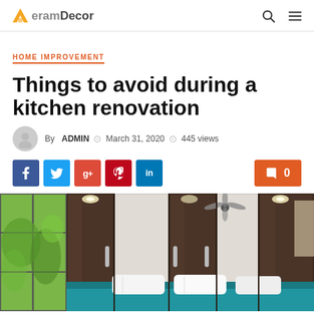HeramDecor
HOME IMPROVEMENT
Things to avoid during a kitchen renovation
By ADMIN  March 31, 2020  445 views
[Figure (screenshot): Social media share buttons: Facebook, Twitter, Google+, Pinterest, LinkedIn; comment button with 0]
[Figure (photo): Interior room photo showing dark brown wardrobe/closet doors with chrome handles, a window with green trees visible, a ceiling fan, and a bed with blue/teal bedding and white pillows]